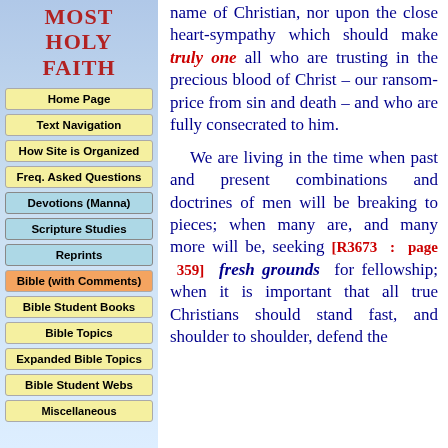MOST HOLY FAITH
Home Page
Text Navigation
How Site is Organized
Freq. Asked Questions
Devotions (Manna)
Scripture Studies
Reprints
Bible (with Comments)
Bible Student Books
Bible Topics
Expanded Bible Topics
Bible Student Webs
Miscellaneous
name of Christian, nor upon the close heart-sympathy which should make truly one all who are trusting in the precious blood of Christ – our ransom-price from sin and death – and who are fully consecrated to him.

We are living in the time when past and present combinations and doctrines of men will be breaking to pieces; when many are, and many more will be, seeking [R3673 : page 359] fresh grounds for fellowship; when it is important that all true Christians should stand fast, and shoulder to shoulder, defend the